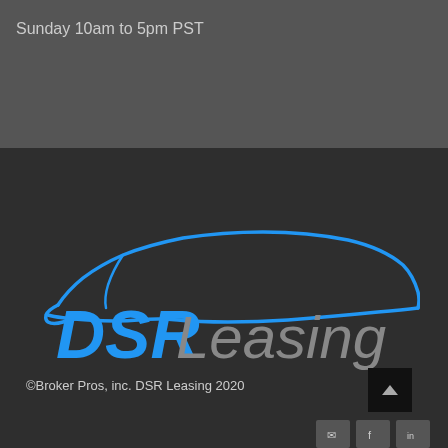Sunday 10am to 5pm PST
[Figure (logo): DSR Leasing logo — blue outline of a car silhouette above text 'DSR Leasing' where DSR is in blue italic and Leasing is in gray italic]
©Broker Pros, inc. DSR Leasing 2020